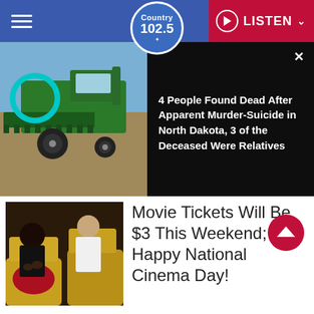Country 102.5 | LISTEN
[Figure (photo): Green combine harvester in a farm field, with a blue sky background]
4 People Found Dead After Apparent Murder-Suicide in North Dakota, 3 of the Deceased Were Relatives
[Figure (photo): Two people sitting in yellow cinema seats in a dark theater]
Movie Tickets Will Be $3 This Weekend; Happy National Cinema Day!